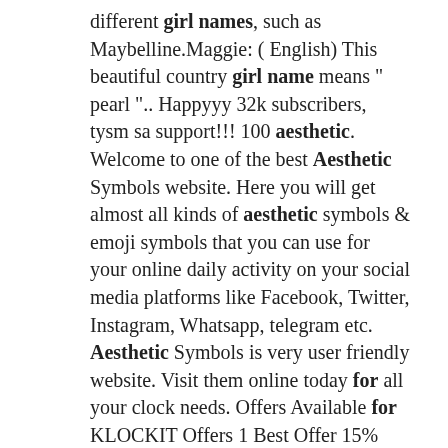different girl names, such as Maybelline.Maggie: ( English) This beautiful country girl name means " pearl ".. Happyyy 32k subscribers, tysm sa support!!! 100 aesthetic. Welcome to one of the best Aesthetic Symbols website. Here you will get almost all kinds of aesthetic symbols & emoji symbols that you can use for your online daily activity on your social media platforms like Facebook, Twitter, Instagram, Whatsapp, telegram etc. Aesthetic Symbols is very user friendly website. Visit them online today for all your clock needs. Offers Available for KLOCKIT Offers 1 Best Offer 15% Off Recently expired offers 10% Off EXCLUSIONS Try Promo Code 15% Off Try Promo Code 10% Off Try Promo Code 10% Off Try Promo Code Free Shipping Try Promo Code.. Astaseul – Bright As A Star. Albania – pure person. Amberflaw – the river flaw. Abordieu